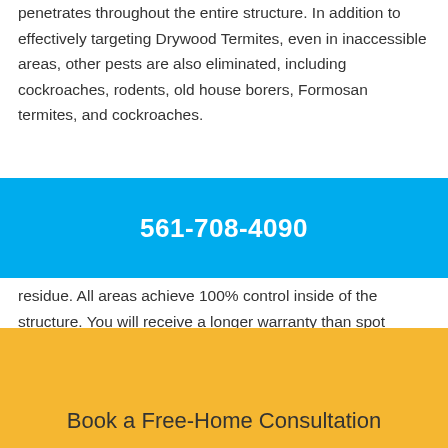penetrates throughout the entire structure. In addition to effectively targeting Drywood Termites, even in inaccessible areas, other pests are also eliminated, including cockroaches, rodents, old house borers, Formosan termites, and cockroaches.
561-708-4090
residue. All areas achieve 100% control inside of the structure. You will receive a longer warranty than spot treatments.
Book a Free-Home Consultation